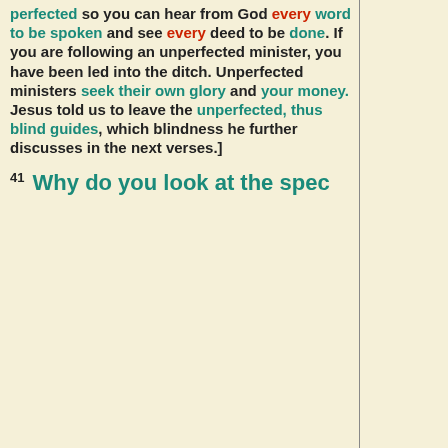perfected so you can hear from God every word to be spoken and see every deed to be done. If you are following an unperfected minister, you have been led into the ditch. Unperfected ministers seek their own glory and your money. Jesus told us to leave the unperfected, thus blind guides, which blindness he further discusses in the next verses.]

41 Why do you look at the spec